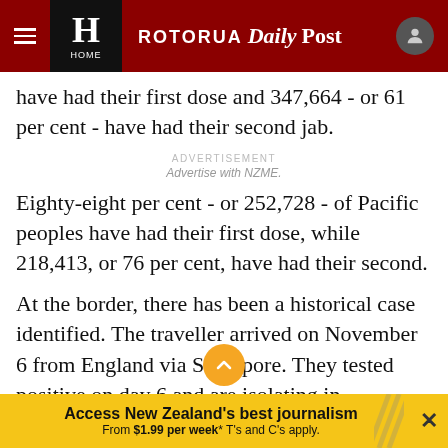ROTORUA Daily Post
have had their first dose and 347,664 - or 61 per cent - have had their second jab.
ADVERTISEMENT
Advertise with NZME.
Eighty-eight per cent - or 252,728 - of Pacific peoples have had their first dose, while 218,413, or 76 per cent, have had their second.
At the border, there has been a historical case identified. The traveller arrived on November 6 from England via Singapore. They tested positive on day 6 and are isolating in Christchurch.
Access New Zealand's best journalism From $1.99 per week* T's and C's apply.